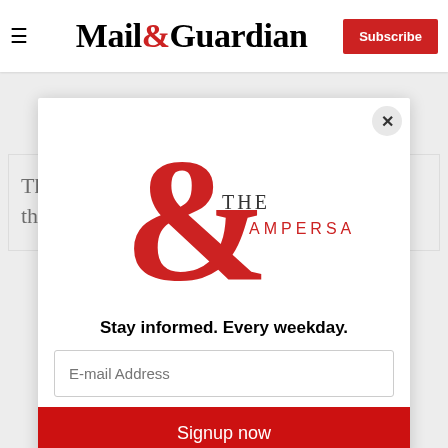Mail & Guardian — Subscribe
The Republic of the Congo ignores climate threat
[Figure (logo): The Ampersand newsletter logo — a large red ampersand with 'THE AMPERSAND' text]
Stay informed. Every weekday.
E-mail Address
Signup now